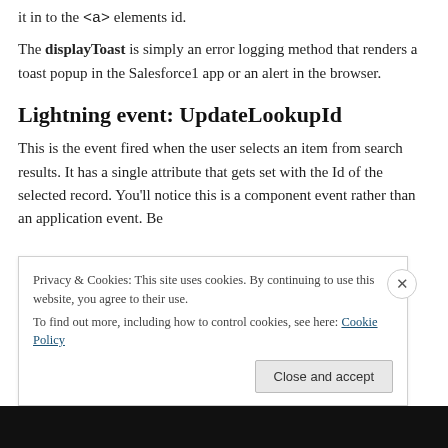it in to the <a> elements id.
The displayToast is simply an error logging method that renders a toast popup in the Salesforce1 app or an alert in the browser.
Lightning event: UpdateLookupId
This is the event fired when the user selects an item from search results. It has a single attribute that gets set with the Id of the selected record. You'll notice this is a component event rather than an application event. Be
Privacy & Cookies: This site uses cookies. By continuing to use this website, you agree to their use.
To find out more, including how to control cookies, see here: Cookie Policy